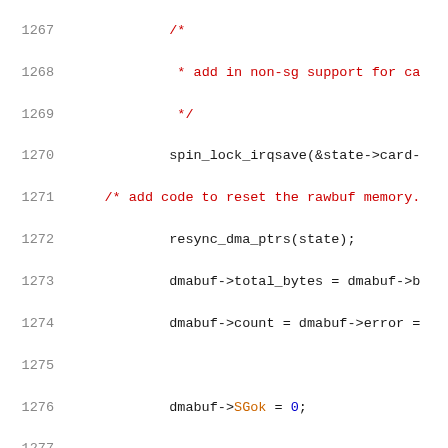[Figure (screenshot): Source code listing in C showing lines 1267-1287, with line numbers in grey, comments in red, keywords and numbers in blue, and member variables in orange, on white background.]